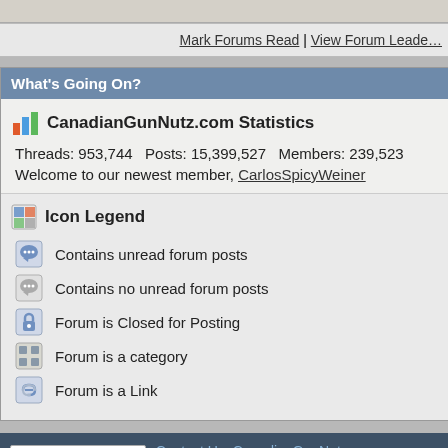Mark Forums Read | View Forum Leaders
What's Going On?
CanadianGunNutz.com Statistics
Threads: 953,744  Posts: 15,399,527  Members: 239,523
Welcome to our newest member, CarlosSpicyWeiner
Icon Legend
Contains unread forum posts
Contains no unread forum posts
Forum is Closed for Posting
Forum is a category
Forum is a Link
-- Full Site Style  |  Contact Us  CanadianGunNutz.com - Canadia
All times are GMT -4. The time now is 08:09 AM.
Powered by vBulletin®
Copyright © 2022 vBulletin Solutions, Inc. All rights re